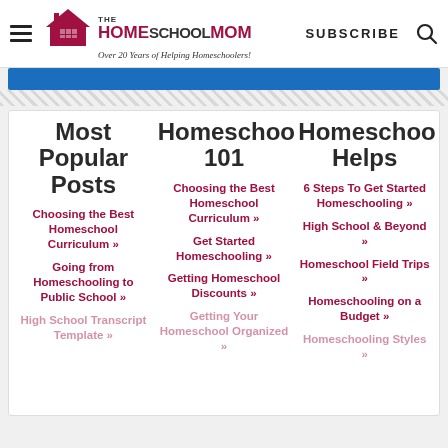THE HOMESCHOOLMOM — Over 20 Years of Helping Homeschoolers! | SUBSCRIBE
Most Popular Posts
Choosing the Best Homeschool Curriculum »
Going from Homeschooling to Public School »
High School Transcript Template »
Homeschool 101
Choosing the Best Homeschool Curriculum »
Get Started Homeschooling »
Getting Homeschool Discounts »
Getting Your Homeschool Organized »
Homeschooling Helps
6 Steps To Get Started Homeschooling »
High School & Beyond »
Homeschool Field Trips »
Homeschooling on a Budget »
Homeschooling Styles »